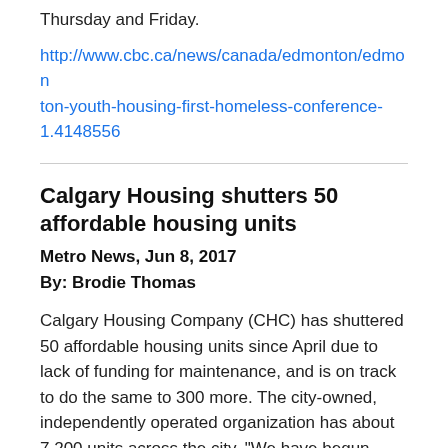Thursday and Friday.
http://www.cbc.ca/news/canada/edmonton/edmonton-youth-housing-first-homeless-conference-1.4148556
Calgary Housing shutters 50 affordable housing units
Metro News, Jun 8, 2017
By: Brodie Thomas
Calgary Housing Company (CHC) has shuttered 50 affordable housing units since April due to lack of funding for maintenance, and is on track to do the same to 300 more. The city-owned, independently operated organization has about 7,200 units across the city. “We have begun putting units on hold until we have the cashflow to put them back